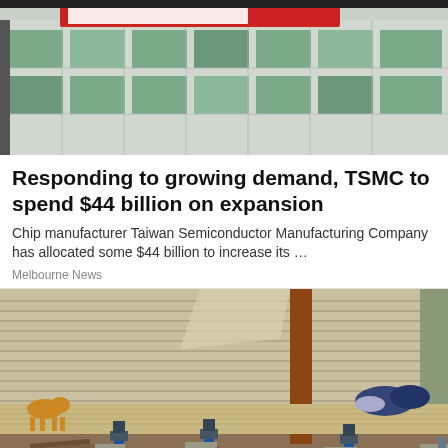[Figure (photo): Exterior of TSMC building showing glass facade with green-tinted panels and red signage/logo strip at top]
Responding to growing demand, TSMC to spend $44 billion on expansion
Chip manufacturer Taiwan Semiconductor Manufacturing Company has allocated some $44 billion to increase its …
Melbourne News
[Figure (photo): Construction/renovation scene showing the underside of a building being raised on jacks, with wooden beams, hydraulic jacks, cinder blocks, and outdoor setting with trees in background]